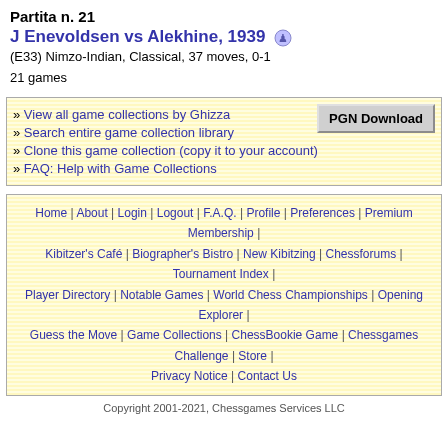Partita n. 21
J Enevoldsen vs Alekhine, 1939
(E33) Nimzo-Indian, Classical, 37 moves, 0-1
21 games
» View all game collections by Ghizza
» Search entire game collection library
» Clone this game collection (copy it to your account)
» FAQ: Help with Game Collections
Home | About | Login | Logout | F.A.Q. | Profile | Preferences | Premium Membership | Kibitzer's Café | Biographer's Bistro | New Kibitzing | Chessforums | Tournament Index | Player Directory | Notable Games | World Chess Championships | Opening Explorer | Guess the Move | Game Collections | ChessBookie Game | Chessgames Challenge | Store | Privacy Notice | Contact Us
Copyright 2001-2021, Chessgames Services LLC